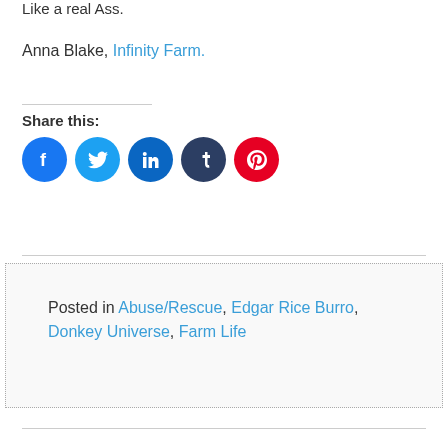Like a real Ass.
Anna Blake, Infinity Farm.
Share this:
[Figure (other): Social share icons: Facebook (blue circle), Twitter (light blue circle), LinkedIn (dark blue circle), Tumblr (dark navy circle), Pinterest (red circle)]
Posted in Abuse/Rescue, Edgar Rice Burro, Donkey Universe, Farm Life